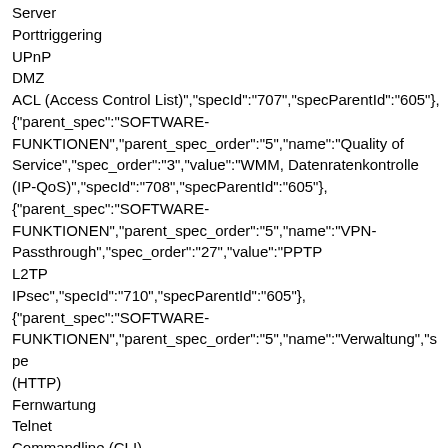Server
Porttriggering
UPnP
DMZ
ACL (Access Control List)","specId":"707","specParentId":"605"},
{"parent_spec":"SOFTWARE-FUNKTIONEN","parent_spec_order":"5","name":"Quality of Service","spec_order":"3","value":"WMM, Datenratenkontrolle (IP-QoS)","specId":"708","specParentId":"605"},
{"parent_spec":"SOFTWARE-FUNKTIONEN","parent_spec_order":"5","name":"VPN-Passthrough","spec_order":"27","value":"PPTP
L2TP
IPsec","specId":"710","specParentId":"605"},
{"parent_spec":"SOFTWARE-FUNKTIONEN","parent_spec_order":"5","name":"Verwaltung","spe
(HTTP)
Fernwartung
Telnet
Commandline (CLI)
SSL für TR-069
SNMP v1/2c
Webbasierendes Firmwareupgrade
CWMP(TR-069)","specId":"713","specParentId":"605"},
{"parent_spec":"HARDWARE-